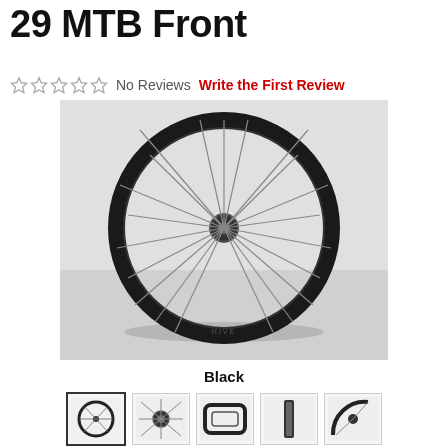29 MTB Front
No Reviews  Write the First Review
[Figure (photo): A black carbon 29-inch MTB front wheel with multiple spokes on a light grey background, shown face-on. The rim has 'HIVE' branding visible at the bottom.]
Black
[Figure (photo): Five thumbnail images of the wheel: full wheel view, hub close-up, rim/tire profile, rim cross-section, and partial wheel angle view.]